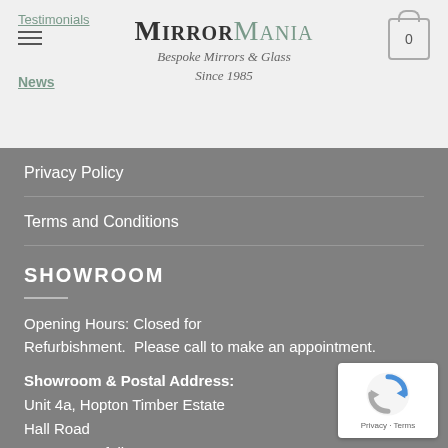Testimonials | MirrorMania Bespoke Mirrors & Glass Since 1985 | News
Privacy Policy
Terms and Conditions
SHOWROOM
Opening Hours: Closed for Refurbishment.  Please call to make an appointment.
Showroom & Postal Address:
Unit 4a, Hopton Timber Estate
Hall Road
Hopton, Norfolk
NR31 9AX
[Figure (logo): reCAPTCHA logo with Privacy and Terms links]